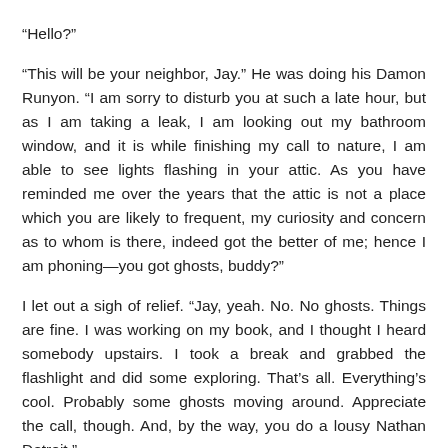“Hello?”
“This will be your neighbor, Jay.” He was doing his Damon Runyon. “I am sorry to disturb you at such a late hour, but as I am taking a leak, I am looking out my bathroom window, and it is while finishing my call to nature, I am able to see lights flashing in your attic. As you have reminded me over the years that the attic is not a place which you are likely to frequent, my curiosity and concern as to whom is there, indeed got the better of me; hence I am phoning—you got ghosts, buddy?”
I let out a sigh of relief. “Jay, yeah. No. No ghosts. Things are fine. I was working on my book, and I thought I heard somebody upstairs. I took a break and grabbed the flashlight and did some exploring. That’s all. Everything’s cool. Probably some ghosts moving around. Appreciate the call, though. And, by the way, you do a lousy Nathan Detroit.”
Jay snorted and laughed. And was gone.
The answer is in the house, and do not know what left of the